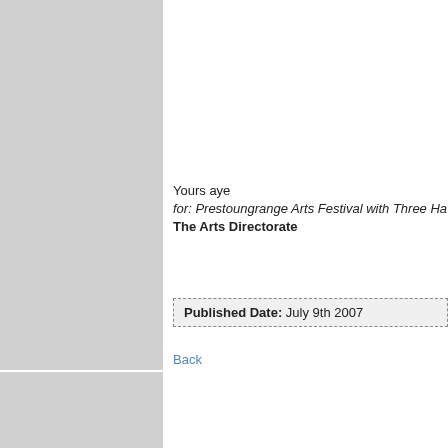[Figure (other): Gray sidebar panel (upper)]
[Figure (other): Gray sidebar panel (lower)]
Yours aye
for: Prestoungrange Arts Festival with Three Ha
The Arts Directorate
Published Date: July 9th 2007
Back